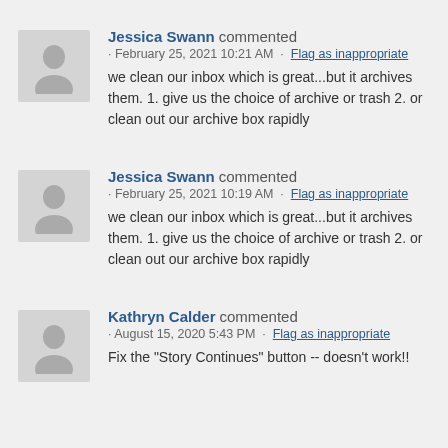Jessica Swann commented · February 25, 2021 10:21 AM · Flag as inappropriate
we clean our inbox which is great...but it archives them. 1. give us the choice of archive or trash 2. or clean out our archive box rapidly
Jessica Swann commented · February 25, 2021 10:19 AM · Flag as inappropriate
we clean our inbox which is great...but it archives them. 1. give us the choice of archive or trash 2. or clean out our archive box rapidly
Kathryn Calder commented · August 15, 2020 5:43 PM · Flag as inappropriate
Fix the "Story Continues" button -- doesn't work!!